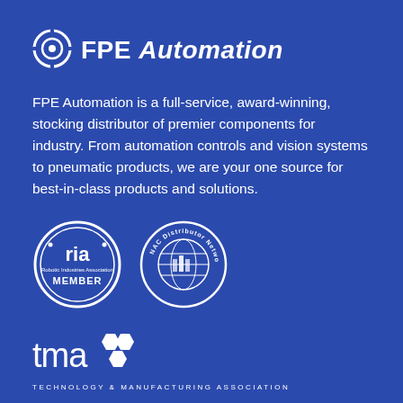[Figure (logo): FPE Automation logo with circular gear icon on left and bold text 'FPE Automation' (Automation in italic) on right, white on blue background]
FPE Automation is a full-service, award-winning, stocking distributor of premier components for industry. From automation controls and vision systems to pneumatic products, we are your one source for best-in-class products and solutions.
[Figure (logo): RIA Robotic Industries Association MEMBER badge — circular white outline with 'ria' text and 'Robotic Industries Association MEMBER' text]
[Figure (logo): NAC Distributor Network circular badge with globe/building illustration in white]
[Figure (logo): TMA Technology & Manufacturing Association logo — 'tma' wordmark with hexagon cluster icon in white, subtitle 'TECHNOLOGY & MANUFACTURING ASSOCIATION']